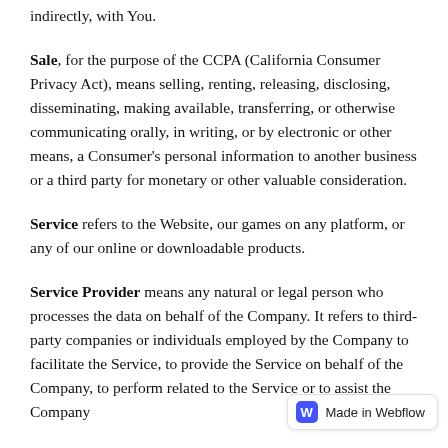indirectly, with You.
Sale, for the purpose of the CCPA (California Consumer Privacy Act), means selling, renting, releasing, disclosing, disseminating, making available, transferring, or otherwise communicating orally, in writing, or by electronic or other means, a Consumer's personal information to another business or a third party for monetary or other valuable consideration.
Service refers to the Website, our games on any platform, or any of our online or downloadable products.
Service Provider means any natural or legal person who processes the data on behalf of the Company. It refers to third-party companies or individuals employed by the Company to facilitate the Service, to provide the Service on behalf of the Company, to perform related to the Service or to assist the Company